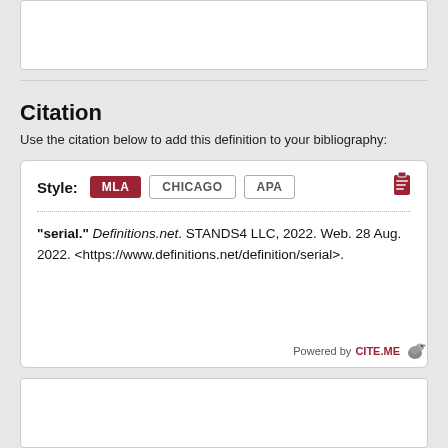Citation
Use the citation below to add this definition to your bibliography:
Style: MLA  CHICAGO  APA
"serial." Definitions.net. STANDS4 LLC, 2022. Web. 28 Aug. 2022. <https://www.definitions.net/definition/serial>.
Powered by CITE.ME